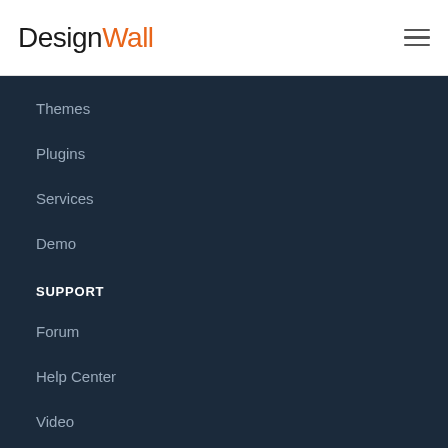DesignWall
Themes
Plugins
Services
Demo
SUPPORT
Forum
Help Center
Video
Support Policy
INFO